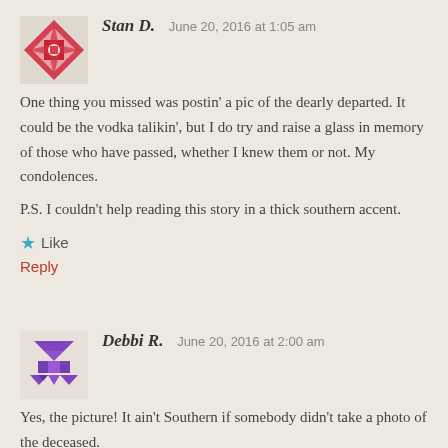Stan D.   June 20, 2016 at 1:05 am
One thing you missed was postin' a pic of the dearly departed. It could be the vodka talikin', but I do try and raise a glass in memory of those who have passed, whether I knew them or not. My condolences.

P.S. I couldn't help reading this story in a thick southern accent.
★ Like
Reply
Debbi R.   June 20, 2016 at 2:00 am
Yes, the picture! It ain't Southern if somebody didn't take a photo of the deceased.
★ Like
Reply